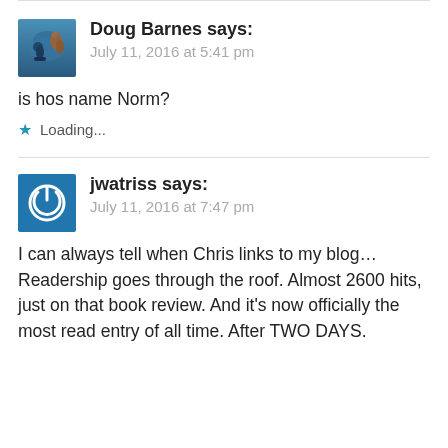Doug Barnes says: July 11, 2016 at 5:41 pm
is hos name Norm?
Loading...
jwatriss says: July 11, 2016 at 7:47 pm
I can always tell when Chris links to my blog… Readership goes through the roof. Almost 2600 hits, just on that book review. And it's now officially the most read entry of all time. After TWO DAYS.